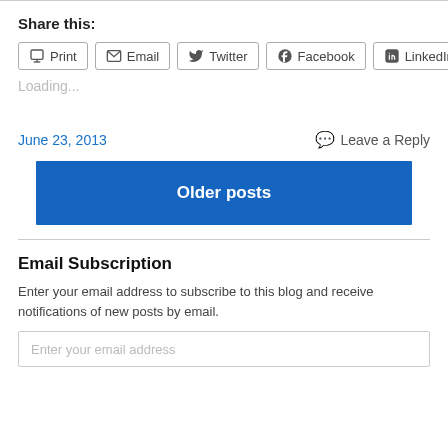Share this:
Print
Email
Twitter
Facebook
LinkedIn
Loading...
June 23, 2013
Leave a Reply
Older posts
Email Subscription
Enter your email address to subscribe to this blog and receive notifications of new posts by email.
Enter your email address